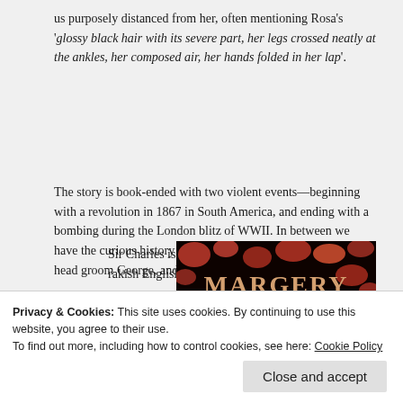us purposely distanced from her, often mentioning Rosa's 'glossy black hair with its severe part, her legs crossed neatly at the ankles, her composed air, her hands folded in her lap'.
The story is book-ended with two violent events—beginning with a revolution in 1867 in South America, and ending with a bombing during the London blitz of WWII. In between we have the curious history of Sir Charles Ramillies, that of his head groom George, and George's illegitimate daughter Rosa.
Sir Charles is a rakish English
[Figure (photo): Book cover of Margery Sharp with red floral pattern on dark background, text reads 'MARGERY SHARP' in large letters]
Privacy & Cookies: This site uses cookies. By continuing to use this website, you agree to their use.
To find out more, including how to control cookies, see here: Cookie Policy
Close and accept